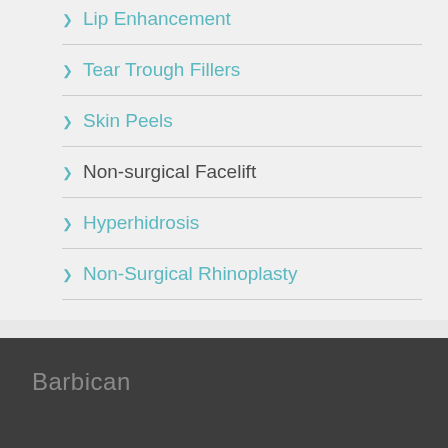Lip Enhancement
Tear Trough Fillers
Skin Peels
Non-surgical Facelift
Hyperhidrosis
Non-Surgical Rhinoplasty
Barbican